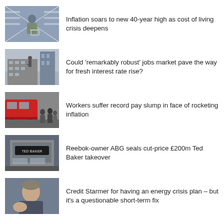[Figure (photo): Person with shopping cart in a store aisle]
Inflation soars to new 40-year high as cost of living crisis deepens
[Figure (photo): Bank of England building with statue]
Could 'remarkably robust' jobs market pave the way for fresh interest rate rise?
[Figure (photo): Crowd of people near a red London Underground train]
Workers suffer record pay slump in face of rocketing inflation
[Figure (photo): Ted Baker store sign or display]
Reebok-owner ABG seals cut-price £200m Ted Baker takeover
[Figure (photo): Man gesturing with hand, speaking]
Credit Starmer for having an energy crisis plan – but it's a questionable short-term fix